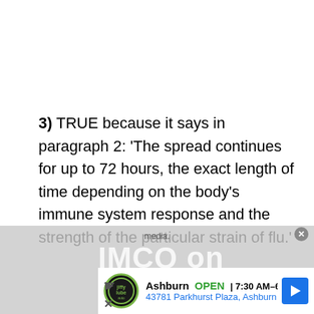3) TRUE because it says in paragraph 2: 'The spread continues for up to 72 hours, the exact length of time depending on the body's immune system response and the strength of the particular strain of flu.'
4) TRUE because it says in paragraph 2: 'people with compromised immune systems
[Figure (screenshot): Advertisement overlay showing Jiffy Lube Ashburn location with OPEN status, hours 7:30AM-6PM, address 43781 Parkhurst Plaza Ashburn, navigation arrow icon, and IMCQ on media text visible behind]